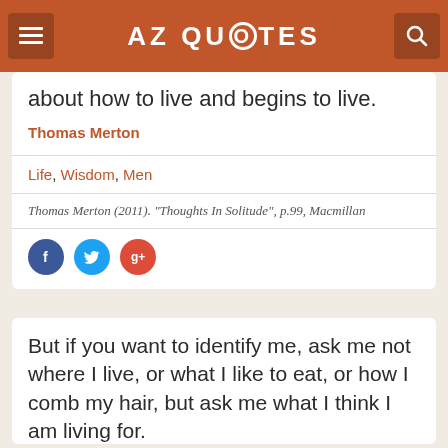AZ QUOTES
about how to live and begins to live.
Thomas Merton
Life, Wisdom, Men
Thomas Merton (2011). "Thoughts In Solitude", p.99, Macmillan
[Figure (other): Social share icons: Facebook, Twitter, Google+]
But if you want to identify me, ask me not where I live, or what I like to eat, or how I comb my hair, but ask me what I think I am living for.
Thomas Merton